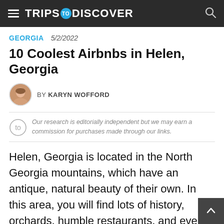TRIPS TO DISCOVER
GEORGIA  5/2/2022
10 Coolest Airbnbs in Helen, Georgia
BY KARYN WOFFORD
Our research is editorially independent but we may earn a commission for purchases made through our links.
Helen, Georgia is located in the North Georgia mountains, which have an antique, natural beauty of their own. In this area, you will find lots of history, orchards, humble restaurants, and even some pretty great places to get some booze. But when going into downtown Helen, guests are greeted with a German-esque themed village, where all the buildings seem to have been transported from another time and country.